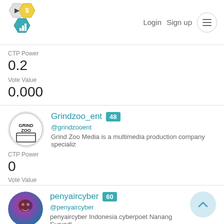[Figure (logo): CTP platform logo with hexagonal icons]
Login
Sign up
CTP Power
0.2
Vote Value
0.000
Grindzoo_ent 48
@grindzooent
Grind Zoo Media is a multimedia production company specializ
CTP Power
0
Vote Value
0
penyaircyber 60
@penyaircyber
penyaircyber Indonesia cyberpoet Nanang Suryadi
CTP Power